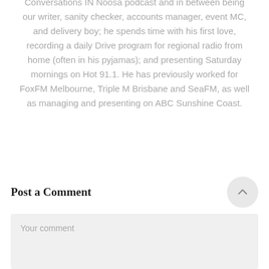Conversations IN Noosa podcast and in between being our writer, sanity checker, accounts manager, event MC, and delivery boy; he spends time with his first love, recording a daily Drive program for regional radio from home (often in his pyjamas); and presenting Saturday mornings on Hot 91.1. He has previously worked for FoxFM Melbourne, Triple M Brisbane and SeaFM, as well as managing and presenting on ABC Sunshine Coast.
Post a Comment
Your comment